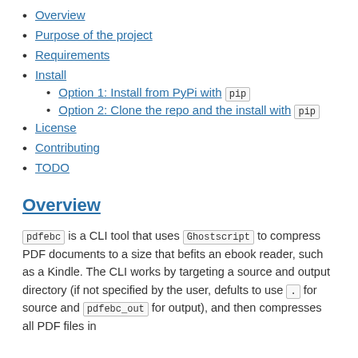Overview
Purpose of the project
Requirements
Install
Option 1: Install from PyPi with pip
Option 2: Clone the repo and the install with pip
License
Contributing
TODO
Overview
pdfebc is a CLI tool that uses Ghostscript to compress PDF documents to a size that befits an ebook reader, such as a Kindle. The CLI works by targeting a source and output directory (if not specified by the user, defults to use . for source and pdfebc_out for output), and then compresses all PDF files in